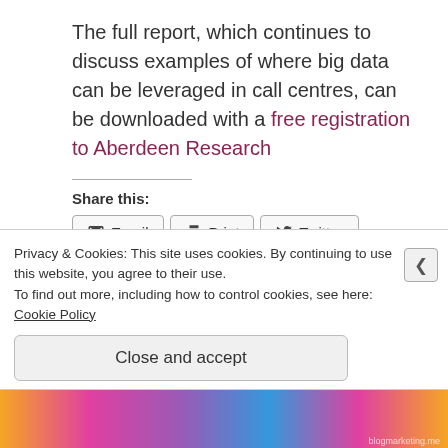The full report, which continues to discuss examples of where big data can be leveraged in call centres, can be downloaded with a free registration to Aberdeen Research
Share this:
Privacy & Cookies: This site uses cookies. By continuing to use this website, you agree to their use. To find out more, including how to control cookies, see here: Cookie Policy
Close and accept